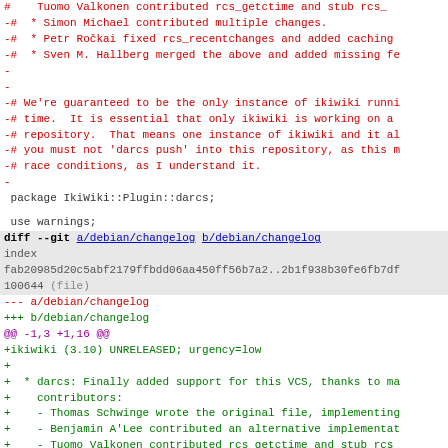Code diff showing removed comment lines about contributors and a diff of debian/changelog with added lines for ikiwiki 3.10 release
[Figure (screenshot): Source code diff view showing removed comment lines (red) with contributor credits, package declaration lines, and a git diff of debian/changelog with added lines (green) for ikiwiki 3.10 UNRELEASED release]